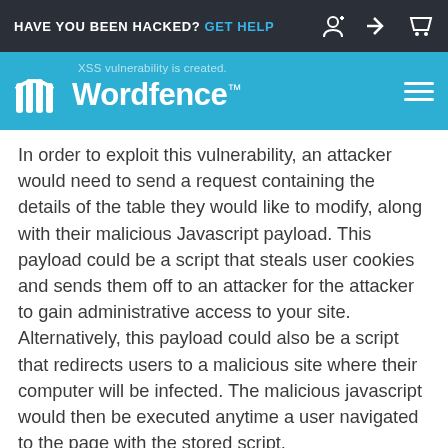HAVE YOU BEEN HACKED? GET HELP
[Figure (logo): Wordfence logo on teal/blue background header bar with tagline 'XSS vulnerability is created.']
In order to exploit this vulnerability, an attacker would need to send a request containing the details of the table they would like to modify, along with their malicious Javascript payload. This payload could be a script that steals user cookies and sends them off to an attacker for the attacker to gain administrative access to your site. Alternatively, this payload could also be a script that redirects users to a malicious site where their computer will be infected. The malicious javascript would then be executed anytime a user navigated to the page with the stored script.
An attacker could edit a pricing table so that the